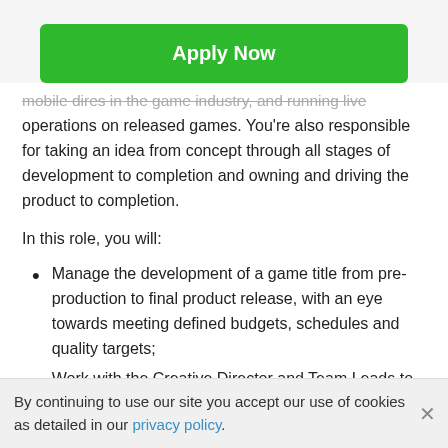[Figure (other): Green 'Apply Now' button]
mobile dires in the game industry, and running live operations on released games. You're also responsible for taking an idea from concept through all stages of development to completion and owning and driving the product to completion.
In this role, you will:
Manage the development of a game title from pre-production to final product release, with an eye towards meeting defined budgets, schedules and quality targets;
Work with the Creative Director and Team Leads to develop and communicate a clear vision for the product;
By continuing to use our site you accept our use of cookies as detailed in our privacy policy.